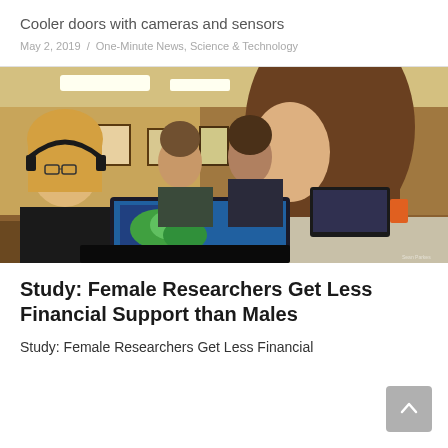Cooler doors with cameras and sensors
May 2, 2019  /  One-Minute News, Science & Technology
[Figure (photo): Classroom scene with students working on laptops. In the foreground, a young woman with long brown hair works on a laptop showing a colorful map/GIS application. To the left, a woman with glasses and headphones works on another laptop. Several other students are visible in the background in a wood-paneled room.]
Study: Female Researchers Get Less Financial Support than Males
Study: Female Researchers Get Less Financial